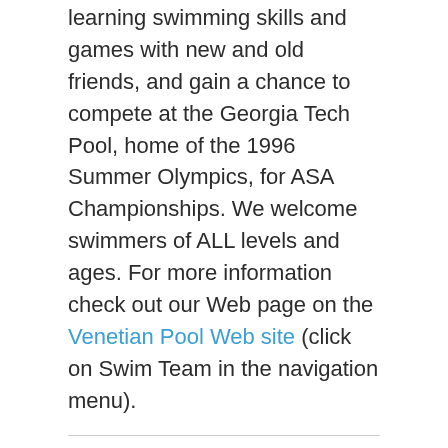learning swimming skills and games with new and old friends, and gain a chance to compete at the Georgia Tech Pool, home of the 1996 Summer Olympics, for ASA Championships. We welcome swimmers of ALL levels and ages. For more information check out our Web page on the Venetian Pool Web site (click on Swim Team in the navigation menu).
Time Running Out For Free Mile
The clock is ticking down to Saturday's pool opening and, as it does, this will be a good time to sign up for this year's 40 Mile Swim Challenge. Of course, you can still sign up after May 6, but, if you sign up before